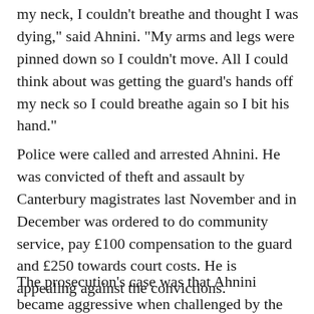my neck, I couldn't breathe and thought I was dying," said Ahnini. "My arms and legs were pinned down so I couldn't move. All I could think about was getting the guard's hands off my neck so I could breathe again so I bit his hand."
Police were called and arrested Ahnini. He was convicted of theft and assault by Canterbury magistrates last November and in December was ordered to do community service, pay £100 compensation to the guard and £250 towards court costs. He is appealing against the convictions.
The prosecution's case was that Ahnini became aggressive when challenged by the store's the store and his and held his...